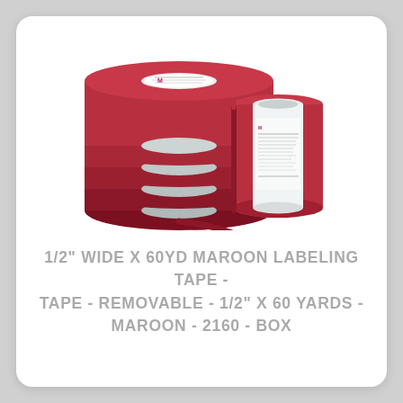[Figure (photo): Photo of multiple rolls of maroon/dark red labeling tape stacked together, with one roll standing upright separately to the right showing the tape label on its core.]
1/2" WIDE X 60YD MAROON LABELING TAPE - TAPE - REMOVABLE - 1/2" X 60 YARDS - MAROON - 2160 - BOX